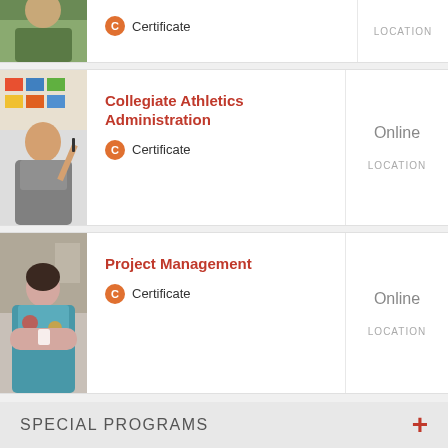[Figure (photo): Partial view of a person outdoors, top portion cut off]
Certificate
LOCATION
[Figure (photo): Man smiling, pointing at a colorful board in background]
Collegiate Athletics Administration
Certificate
Online
LOCATION
[Figure (photo): Woman with arms crossed, smiling, wearing a floral top]
Project Management
Certificate
Online
LOCATION
SPECIAL PROGRAMS